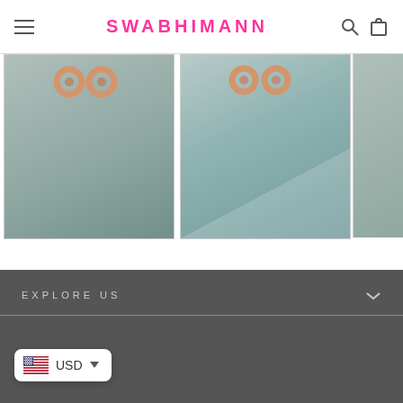SWABHIMANN
[Figure (photo): Ananta Duo Grey Gold Plated Zirconia Ring product image on grey background]
Ananta Duo Grey Gold Plated Zirconia Ring
$44.00 $26.00 Save 40%
[Figure (photo): Ananta Duo Pink Gold Plated Zirconia Ring product image on blue-grey background]
Ananta Duo Pink Gold Plated Zirconia Ring
$44.00 $26.00 Save 40%
[Figure (photo): Ameena L... Plated Zirc... Ring partial image]
Ameena L... Plated Zirc... Rin...
$31.00 $19.0...
EXPLORE US
USD